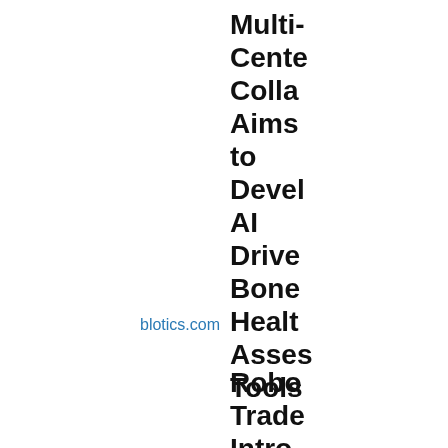Multi-Center Collaboration Aims to Develop AI Driven Bone Health Assessment Tools
blotics.com
Robo Trade Intro Three Arbitr